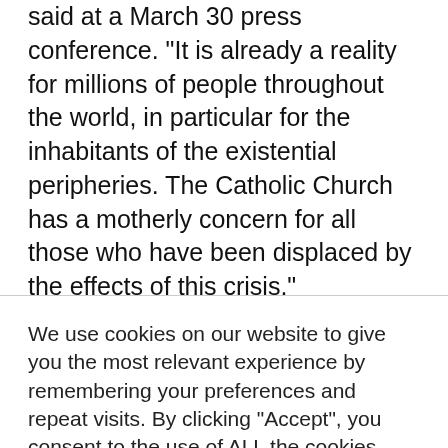said at a March 30 press conference. "It is already a reality for millions of people throughout the world, in particular for the inhabitants of the existential peripheries. The Catholic Church has a motherly concern for all those who have been displaced by the effects of this crisis."

In the preface, Pope Francis said that the document “calls on us to broaden the way we look at this drama of our time. It urges us to see the tragedy of prolonged uprootedness that causes our brothers and sisters to cry out, year
We use cookies on our website to give you the most relevant experience by remembering your preferences and repeat visits. By clicking “Accept”, you consent to the use of ALL the cookies.